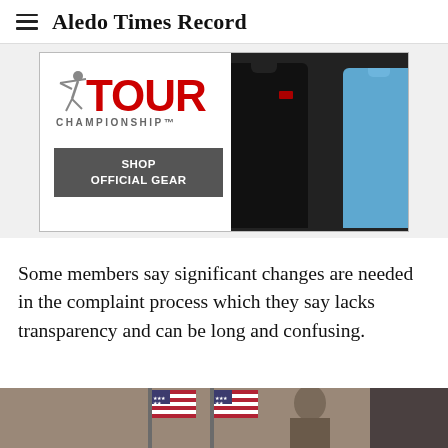Aledo Times Record
[Figure (photo): Tour Championship advertisement showing TOUR CHAMPIONSHIP logo in red and gray, two t-shirts (black and blue) on dark background, with a 'SHOP OFFICIAL GEAR' button]
Some members say significant changes are needed in the complaint process which they say lacks transparency and can be long and confusing.
[Figure (photo): Partial photo at bottom showing American flags and a person, cropped]